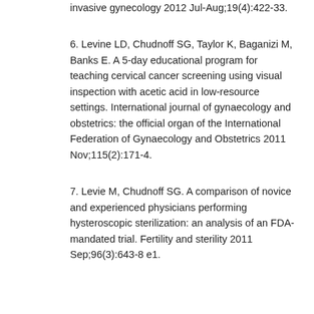invasive gynecology 2012 Jul-Aug;19(4):422-33.
6. Levine LD, Chudnoff SG, Taylor K, Baganizi M, Banks E. A 5-day educational program for teaching cervical cancer screening using visual inspection with acetic acid in low-resource settings. International journal of gynaecology and obstetrics: the official organ of the International Federation of Gynaecology and Obstetrics 2011 Nov;115(2):171-4.
7. Levie M, Chudnoff SG. A comparison of novice and experienced physicians performing hysteroscopic sterilization: an analysis of an FDA-mandated trial. Fertility and sterility 2011 Sep;96(3):643-8 e1.